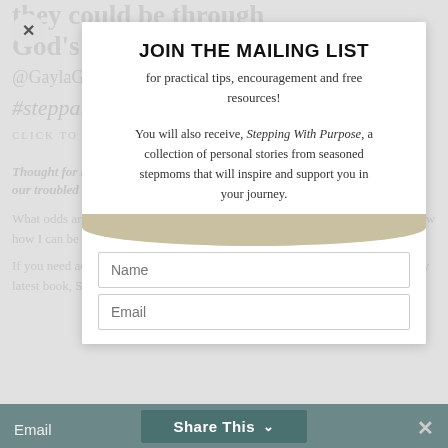they could be through God's redeeming power
@GaylaGrace
#stepparenting
CLICK TO TWEET
Thought for the Day: With God's help, we can overcome the odds we face in our troubled stepfamily relationships.
What odds are you facing in your stepfamily? Leave a comment and let me know how I can be praying for you.
If you need additional encouragement on your stepfamily journey, check out my latest book, Stepmothering With Grace.
JOIN THE MAILING LIST
for practical tips, encouragement and free resources!
You will also receive, Stepping With Purpose, a collection of personal stories from seasoned stepmoms that will inspire and support you in your journey.
Name
Email
Share This